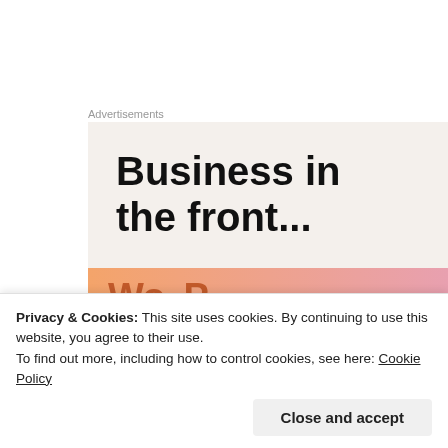Advertisements
[Figure (illustration): Advertisement block with large bold text 'Business in the front...' on a light beige background, with an orange-pink gradient banner at the bottom showing partial text 'Wo... P...']
a lunch with friends in the suburbs
[Figure (photo): Partial photo showing a leaf pattern, woven material, and a dark red circular element on a light background]
Privacy & Cookies: This site uses cookies. By continuing to use this website, you agree to their use.
To find out more, including how to control cookies, see here: Cookie Policy
Close and accept